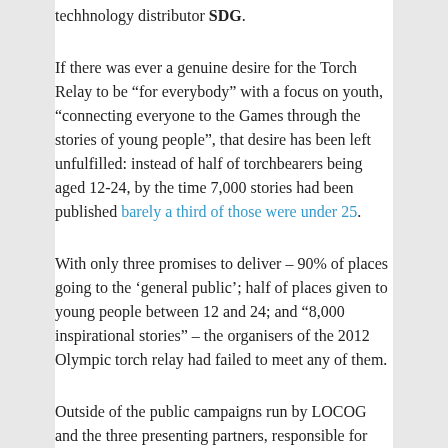techhnology distributor SDG.
If there was ever a genuine desire for the Torch Relay to be “for everybody” with a focus on youth, “connecting everyone to the Games through the stories of young people”, that desire has been left unfulfilled: instead of half of torchbearers being aged 12-24, by the time 7,000 stories had been published barely a third of those were under 25.
With only three promises to deliver – 90% of places going to the ‘general public’; half of places given to young people between 12 and 24; and “8,000 inspirational stories” – the organisers of the 2012 Olympic torch relay had failed to meet any of them.
Outside of the public campaigns run by LOCOG and the three presenting partners, responsible for 76% of places – hundreds of which had never been offered publicly – LOCOG could provide no details of which members of the general public had been nominated, or whether any